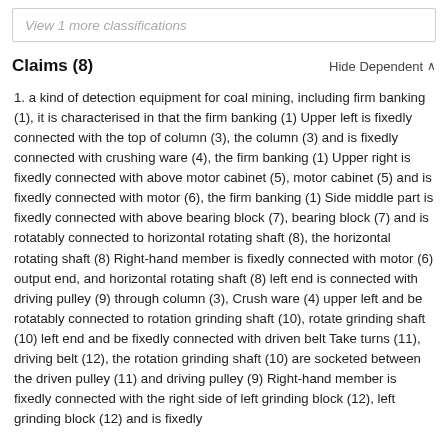View 1 more classifications
Claims (8)
Hide Dependent ^
1. a kind of detection equipment for coal mining, including firm banking (1), it is characterised in that the firm banking (1) Upper left is fixedly connected with the top of column (3), the column (3) and is fixedly connected with crushing ware (4), the firm banking (1) Upper right is fixedly connected with above motor cabinet (5), motor cabinet (5) and is fixedly connected with motor (6), the firm banking (1) Side middle part is fixedly connected with above bearing block (7), bearing block (7) and is rotatably connected to horizontal rotating shaft (8), the horizontal rotating shaft (8) Right-hand member is fixedly connected with motor (6) output end, and horizontal rotating shaft (8) left end is connected with driving pulley (9) through column (3), Crush ware (4) upper left and be rotatably connected to rotation grinding shaft (10), rotate grinding shaft (10) left end and be fixedly connected with driven belt Take turns (11), driving belt (12), the rotation grinding shaft (10) are socketed between the driven pulley (11) and driving pulley (9) Right-hand member is fixedly connected with the right side of left grinding block (12), left grinding block (12) and is fixedly